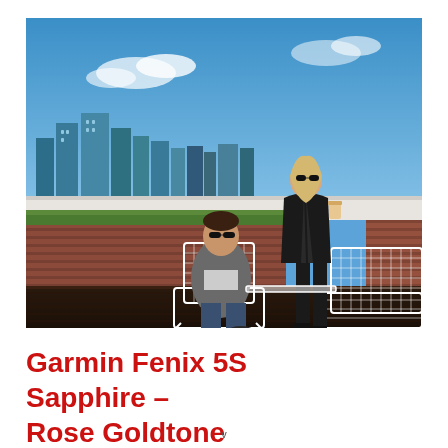[Figure (photo): Two people on a rooftop with a city skyline in the background. A man sits in a white wire mesh chair wearing sunglasses and a blazer. A woman stands next to him in all-black outfit with sunglasses, holding a cup. Brick wall and green grass behind them. Clear blue sky.]
Garmin Fenix 5S Sapphire – Rose Goldtone
v